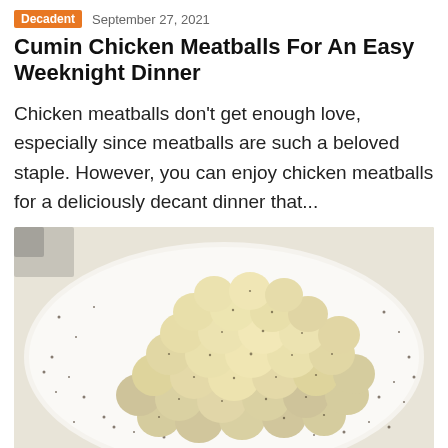Decadent   September 27, 2021
Cumin Chicken Meatballs For An Easy Weeknight Dinner
Chicken meatballs don't get enough love, especially since meatballs are such a beloved staple. However, you can enjoy chicken meatballs for a deliciously decant dinner that...
[Figure (photo): A white plate piled high with small pale chicken meatballs dusted with black pepper and cumin, photographed from above on a white background.]